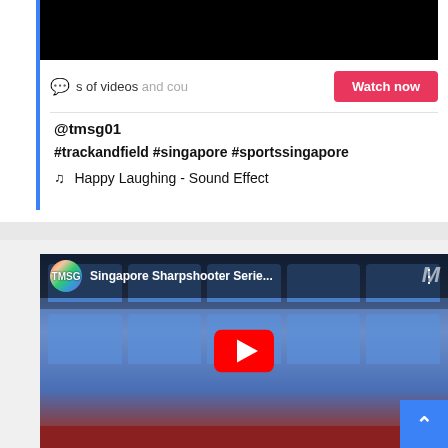[Figure (screenshot): TikTok embed card with black video thumbnail at top, chat bubble icon, partial text 's of videos and cou', red Watch now button, @tmsg01 handle, hashtags #trackandfield #singapore #sportssingapore, music note icon with 'Happy Laughing - Sound Effect', and a blue left border bar]
s of videos and cou
Watch now
@tmsg01
#trackandfield #singapore #sportssingapore
♫  Happy Laughing - Sound Effect
[Figure (screenshot): YouTube embedded video thumbnail showing 'Singapore Sharpshooter Serie...' with TMSG logo circle, a man in a blue shirt sitting in front of blue stadium seats, YouTube play button in center, M watermark top right, back-to-top blue button bottom right]